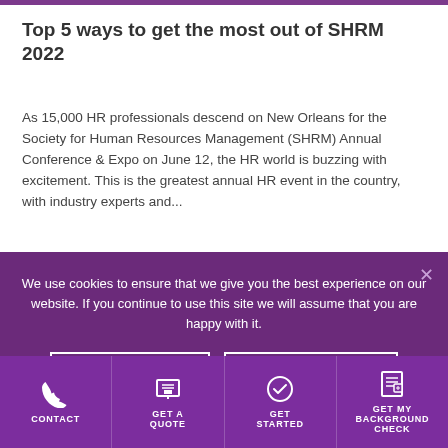Top 5 ways to get the most out of SHRM 2022
As 15,000 HR professionals descend on New Orleans for the Society for Human Resources Management (SHRM) Annual Conference & Expo on June 12, the HR world is buzzing with excitement. This is the greatest annual HR event in the country, with industry experts and...
We use cookies to ensure that we give you the best experience on our website. If you continue to use this site we will assume that you are happy with it.
OK
COOKIE POLICY
CONTACT | GET A QUOTE | GET STARTED | GET MY BACKGROUND CHECK